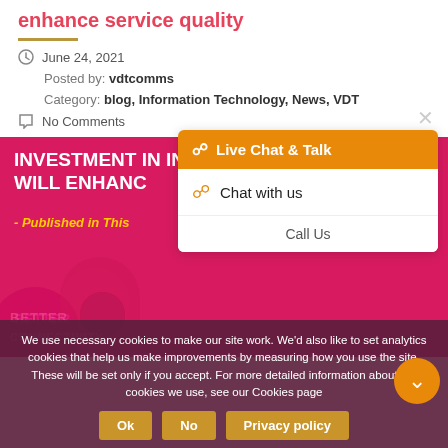enhance service quality
June 24, 2021
Posted by: vdtcomms
Category: blog, Information Technology, News, VDT
No Comments
[Figure (photo): Pink/magenta banner image with text 'INVESTMENT IN INFRASTRUCTURE WILL ENHANCE SERVICE QUALITY - Published in This...' with 'BETTER CONNECTIVITY' text visible at bottom and a person's photo partially visible]
Live Chat & Talk
Chat with us
Call Us
We use necessary cookies to make our site work. We'd also like to set analytics cookies that help us make improvements by measuring how you use the site. These will be set only if you accept. For more detailed information about the cookies we use, see our Cookies page
Ok
No
Privacy policy